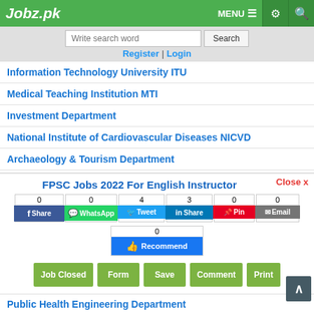Jobz.pk — MENU ☰ ⚙ 🔍
Write search word | Search
Register | Login
Information Technology University ITU
Medical Teaching Institution MTI
Investment Department
National Institute of Cardiovascular Diseases NICVD
Archaeology & Tourism Department
Public Sector Company
Ministry of Defence
Gomal University
Shaikh Zayed Postgraduate Medical Institute
FPSC Jobs 2022 For English Instructor
Close x
Share buttons: 0 Share | 0 WhatsApp | 4 Tweet | 3 Share | 0 Pin | 0 Email | 0 Recommend
Job Closed | Form | Save | Comment | Print
Public Health Engineering Department